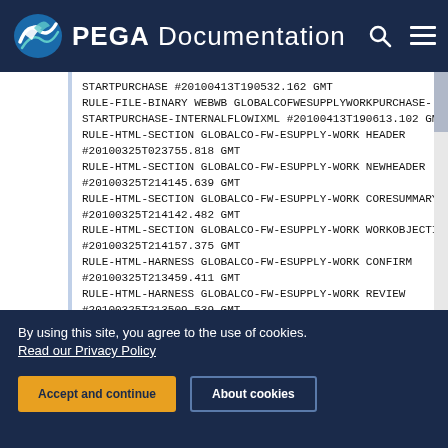PEGA Documentation
STARTPURCHASE #20100413T190532.162 GMT
RULE-FILE-BINARY WEBWB GLOBALCOFWESUPPLYWORKPURCHASE-STARTPURCHASE-INTERNALFLOWIXML #20100413T190613.102 GMT
RULE-HTML-SECTION GLOBALCO-FW-ESUPPLY-WORK HEADER #20100325T023755.818 GMT
RULE-HTML-SECTION GLOBALCO-FW-ESUPPLY-WORK NEWHEADER #20100325T214145.639 GMT
RULE-HTML-SECTION GLOBALCO-FW-ESUPPLY-WORK CORESUMMARY #20100325T214142.482 GMT
RULE-HTML-SECTION GLOBALCO-FW-ESUPPLY-WORK WORKOBJECTINFO #20100325T214157.375 GMT
RULE-HTML-HARNESS GLOBALCO-FW-ESUPPLY-WORK CONFIRM #20100325T213459.411 GMT
RULE-HTML-HARNESS GLOBALCO-FW-ESUPPLY-WORK REVIEW #20100325T213509.539 GMT
RULE-HTML-HARNESS GLOBALCO-FW-ESUPPLY-WORK PERFORM #20100325T023715.987 GMT
RULE-HTML-HARNESS GLOBALCO-FW-ESUPPLY-WORK NEW #20100325T213505.267 GMT
RULE-OBJ-WORKPARTIES GLOBALCO-FW-ESUPPLY-WORK DEFAULT
READY TO CRUSH COMPLEXITY?
By using this site, you agree to the use of cookies. Read our Privacy Policy
Accept and continue
About cookies